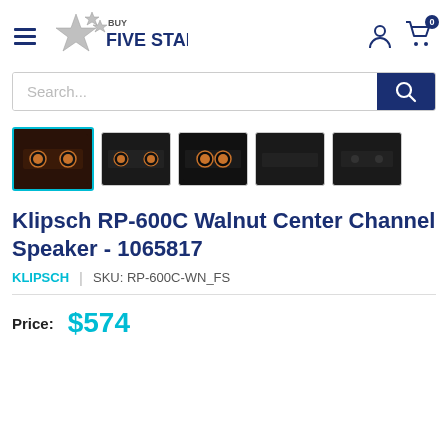[Figure (logo): Buy Five Star logo with star icon and text]
[Figure (illustration): Search bar with blue search button]
[Figure (photo): Five product thumbnail images of Klipsch RP-600C speaker, first selected with teal border]
Klipsch RP-600C Walnut Center Channel Speaker - 1065817
KLIPSCH  |  SKU: RP-600C-WN_FS
Price:  $574